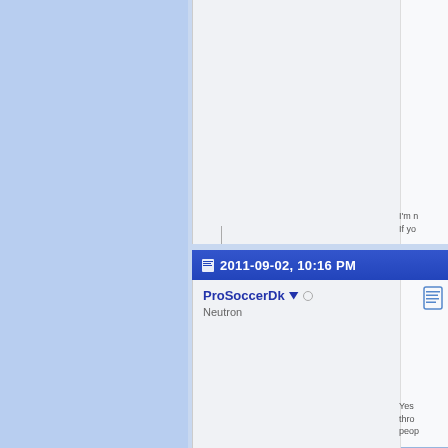[Figure (screenshot): Forum thread screenshot showing a blue sidebar on the left, two post blocks on the right. Top post block is mostly empty with truncated text 'I'm n' and 'If yo' on the right side. A date header bar reads '2011-09-02, 10:16 PM' in white on blue. Second post block shows username 'ProSoccerDk' with rank icon and online indicator, user title 'Neutron', and truncated text 'Yes', 'thro', 'peop' on the right side.]